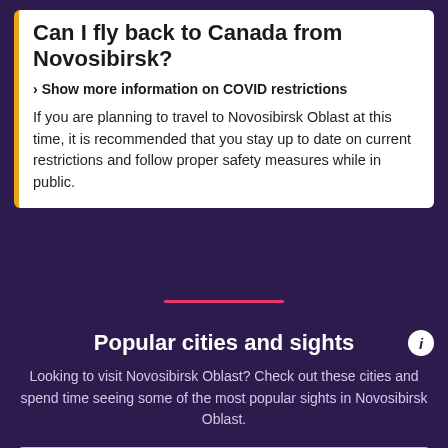Can I fly back to Canada from Novosibirsk?
Show more information on COVID restrictions
If you are planning to travel to Novosibirsk Oblast at this time, it is recommended that you stay up to date on current restrictions and follow proper safety measures while in public.
Popular cities and sights
Looking to visit Novosibirsk Oblast? Check out these cities and spend time seeing some of the most popular sights in Novosibirsk Oblast.
[Figure (photo): Sky and clouds photo]